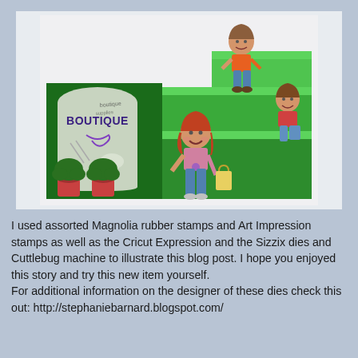[Figure (photo): A 3D paper craft diorama of a green stepped boutique store display with three cartoon-style paper doll children figures on the steps. The storefront has a sign reading 'BOUTIQUE' with a decorative swirl, and flower pots with green plants at the base.]
I used assorted Magnolia rubber stamps and Art Impression stamps as well as the Cricut Expression and the Sizzix dies and Cuttlebug machine to illustrate this blog post. I hope you enjoyed this story and try this new item yourself.
For additional information on the designer of these dies check this out: http://stephaniebarnard.blogspot.com/